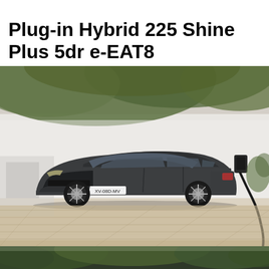Plug-in Hybrid 225 Shine Plus 5dr e-EAT8
[Figure (photo): A dark grey Citroën plug-in hybrid SUV (licence plate XV-08D-MV) parked in a modern courtyard, connected to a wall-mounted EV charger via a charging cable. Background shows a white rendered wall and large leafy tree canopy.]
[Figure (photo): Partial bottom strip showing trees and foliage, likely a second vehicle photo cropped at the bottom of the page.]